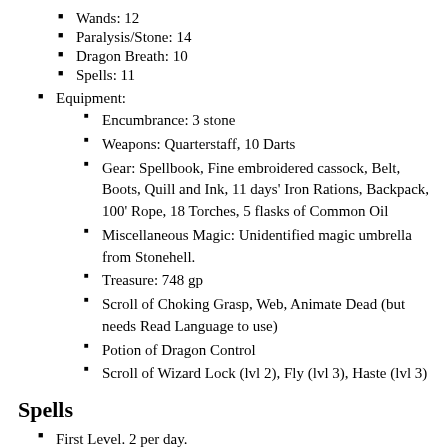Wands: 12
Paralysis/Stone: 14
Dragon Breath: 10
Spells: 11
Equipment:
Encumbrance: 3 stone
Weapons: Quarterstaff, 10 Darts
Gear: Spellbook, Fine embroidered cassock, Belt, Boots, Quill and Ink, 11 days' Iron Rations, Backpack, 100' Rope, 18 Torches, 5 flasks of Common Oil
Miscellaneous Magic: Unidentified magic umbrella from Stonehell.
Treasure: 748 gp
Scroll of Choking Grasp, Web, Animate Dead (but needs Read Language to use)
Potion of Dragon Control
Scroll of Wizard Lock (lvl 2), Fly (lvl 3), Haste (lvl 3)
Spells
First Level. 2 per day.
Spell: Summon Berserkers - 4 berserkers for 30 min
Spell: Chameleon
Spell: Read Languages